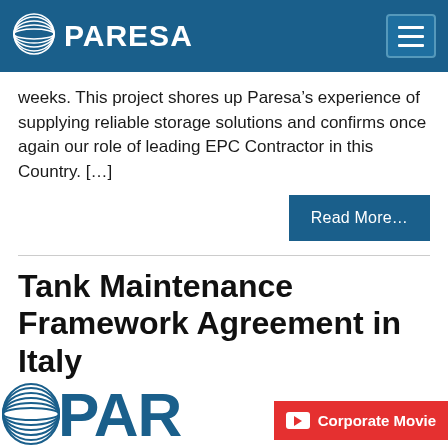PARESA
weeks. This project shores up Paresa’s experience of supplying reliable storage solutions and confirms once again our role of leading EPC Contractor in this Country. […]
Read More…
Tank Maintenance Framework Agreement in Italy
[Figure (logo): PARESA logo at bottom of page with corporate movie button overlay]